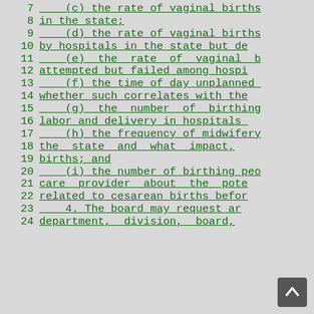7     (c) the rate of vaginal births
8  in the state;
9     (d) the rate of vaginal births
10  by hospitals in the state but de
11     (e)  the  rate  of  vaginal  b
12  attempted but failed among hospi
13     (f) the time of day unplanned
14  whether such correlates with the
15     (g)  the  number  of  birthing
16  labor and delivery in hospitals
17     (h) the frequency of midwifery
18  the  state  and  what  impact,
19  births; and
20     (i) the number of birthing peo
21  care  provider  about  the  pote
22  related to cesarean births befor
23     4. The board may request ar
24  department,  division,  board,